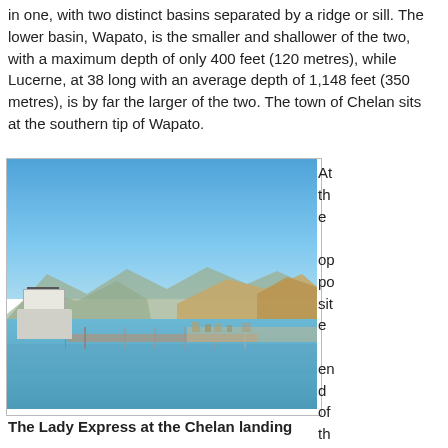in one, with two distinct basins separated by a ridge or sill. The lower basin, Wapato, is the smaller and shallower of the two, with a maximum depth of only 400 feet (120 metres), while Lucerne, at 38 long with an average depth of 1,148 feet (350 metres), is by far the larger of the two. The town of Chelan sits at the southern tip of Wapato.
[Figure (photo): A photo of the Lady Express boat at the Chelan landing on Lake Chelan, with blue sky, calm water, mountains in background, and a pier extending into the lake.]
At the opposite end of the lake
The Lady Express at the Chelan landing